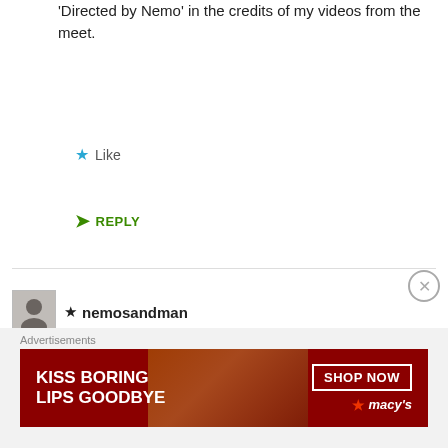'Directed by Nemo' in the credits of my videos from the meet.
★ Like
➤ REPLY
★ nemosandman
20/03/2016 AT 19:56
Hello !!
Yes I saw that and wrote a word on Pekka's last post!
This is neat and made me smile ! 🙂
Thank you my friend !
[Figure (other): Advertisement banner: KISS BORING LIPS GOODBYE with SHOP NOW button and Macy's logo on dark red background]
Advertisements